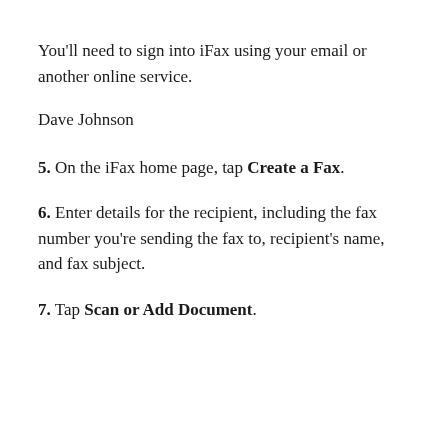You'll need to sign into iFax using your email or another online service.
Dave Johnson
5. On the iFax home page, tap Create a Fax.
6. Enter details for the recipient, including the fax number you're sending the fax to, recipient's name, and fax subject.
7. Tap Scan or Add Document.